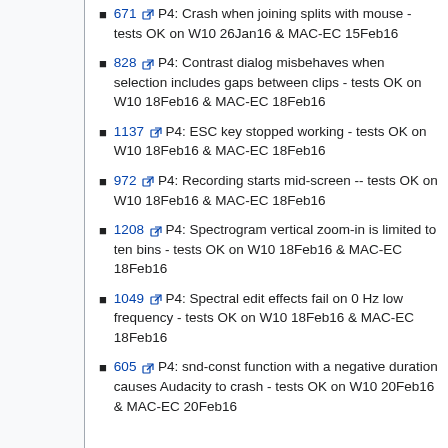671 P4: Crash when joining splits with mouse - tests OK on W10 26Jan16 & MAC-EC 15Feb16
828 P4: Contrast dialog misbehaves when selection includes gaps between clips - tests OK on W10 18Feb16 & MAC-EC 18Feb16
1137 P4: ESC key stopped working - tests OK on W10 18Feb16 & MAC-EC 18Feb16
972 P4: Recording starts mid-screen -- tests OK on W10 18Feb16 & MAC-EC 18Feb16
1208 P4: Spectrogram vertical zoom-in is limited to ten bins - tests OK on W10 18Feb16 & MAC-EC 18Feb16
1049 P4: Spectral edit effects fail on 0 Hz low frequency - tests OK on W10 18Feb16 & MAC-EC 18Feb16
605 P4: snd-const function with a negative duration causes Audacity to crash - tests OK on W10 20Feb16 & MAC-EC 20Feb16